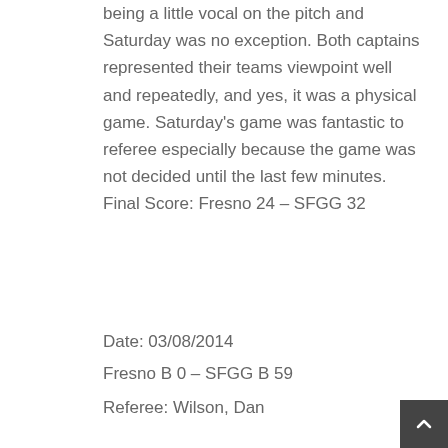being a little vocal on the pitch and Saturday was no exception. Both captains represented their teams viewpoint well and repeatedly, and yes, it was a physical game. Saturday's game was fantastic to referee especially because the game was not decided until the last few minutes. Final Score: Fresno 24 – SFGG 32
Date: 03/08/2014
Fresno B 0 – SFGG B 59
Referee: Wilson, Dan